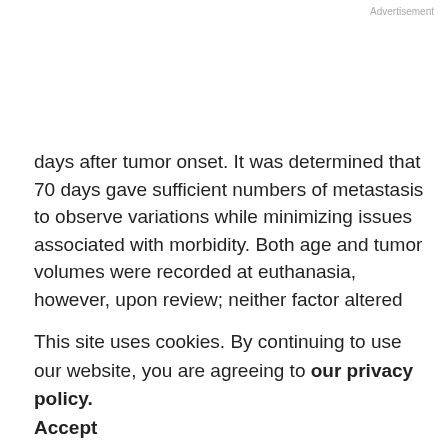Advertisement
days after tumor onset. It was determined that 70 days gave sufficient numbers of metastasis to observe variations while minimizing issues associated with morbidity. Both age and tumor volumes were recorded at euthanasia, however, upon review; neither factor altered the mitochondrial effects shown here.
To determine if mtDNA affected growth rates of Her2 tumors, first primary tumors to arise in each mouse were
This site uses cookies. By continuing to use our website, you are agreeing to our privacy policy. Accept
examined. As shown in Fig. 6A and B, there were no statistically significant differences in rates of Her2 tumor